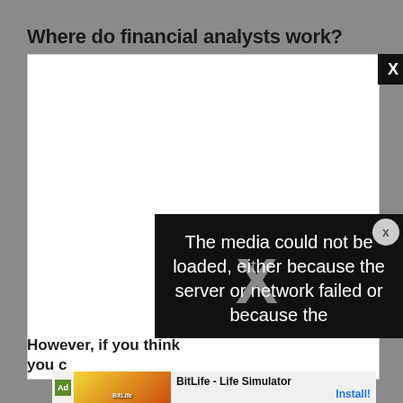Where do financial analysts work?
[Figure (screenshot): White media player box with black error overlay reading 'The media could not be loaded, either because the server or network failed or because the' and an X close button]
However, if you think
you c
[Figure (screenshot): Ad banner for BitLife - Life Simulator app with Install button]